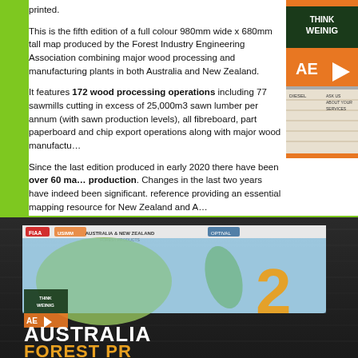printed.
This is the fifth edition of a full colour 980mm wide x 680mm tall map produced by the Forest Industry Engineering Association combining major wood processing and manufacturing plants in both Australia and New Zealand.
It features 172 wood processing operations including 77 sawmills cutting in excess of 25,000m3 sawn lumber per annum (with sawn production levels), all fibreboard, part paperboard and chip export operations along with major wood manufactu...
Since the last edition produced in early 2020 there have been over 60 ma... production. Changes in the last two years have indeed been significant. reference providing an essential mapping resource for New Zealand and A...
A folded copy of the map has been inserted into two major industry maga... or flat laminated (limited copies) maps, orders can now be made directly f...
[Figure (illustration): Sidebar showing advertisement panels including THINK WEINIG, AE arrow logo, and other industry ads]
[Figure (photo): Bottom banner showing Australia & New Zealand Forest Products map and text 'AUSTRALIA FOREST PR...' on dark wood background]